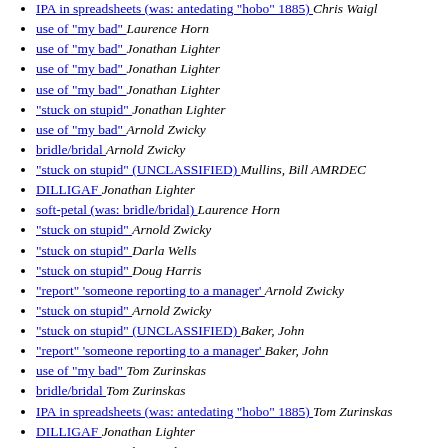IPA in spreadsheets (was: antedating "hobo" 1885)  Chris Waigl
use of "my bad"  Laurence Horn
use of "my bad"  Jonathan Lighter
use of "my bad"  Jonathan Lighter
use of "my bad"  Jonathan Lighter
"stuck on stupid"  Jonathan Lighter
use of "my bad"  Arnold Zwicky
bridle/bridal  Arnold Zwicky
"stuck on stupid" (UNCLASSIFIED)  Mullins, Bill AMRDEC
DILLIGAF  Jonathan Lighter
soft-petal (was: bridle/bridal)  Laurence Horn
"stuck on stupid"  Arnold Zwicky
"stuck on stupid"  Darla Wells
"stuck on stupid"  Doug Harris
"report" 'someone reporting to a manager'  Arnold Zwicky
"stuck on stupid"  Arnold Zwicky
"stuck on stupid" (UNCLASSIFIED)  Baker, John
"report" 'someone reporting to a manager'  Baker, John
use of "my bad"  Tom Zurinskas
bridle/bridal  Tom Zurinskas
IPA in spreadsheets (was: antedating "hobo" 1885)  Tom Zurinskas
DILLIGAF  Jonathan Lighter
DILLIGAF  Jonathan Lighter